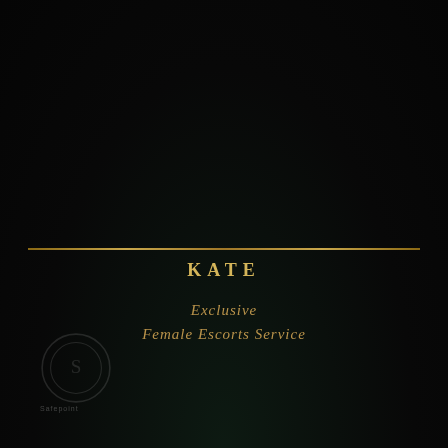[Figure (illustration): Dark luxury background with a thin horizontal gold decorative line]
KATE
Exclusive
Female Escorts Service
[Figure (logo): Small circular watermark logo in bottom left corner with Safepoint branding]